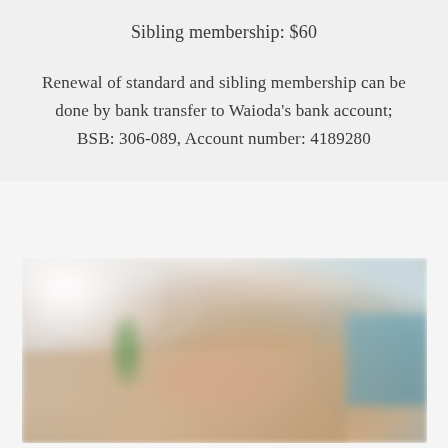Sibling membership: $60
Renewal of standard and sibling membership can be done by bank transfer to Waioda's bank account; BSB: 306-089, Account number: 4189280
[Figure (photo): Blurred photo of a person using a laptop on a wooden desk, with a plant and blue couch visible in the background.]